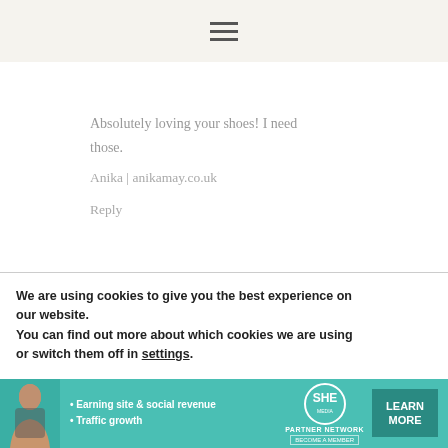☰
Absolutely loving your shoes! I need those.
Anika | anikamay.co.uk
Reply
We are using cookies to give you the best experience on our website.
You can find out more about which cookies we are using or switch them off in settings.
[Figure (infographic): SHE Partner Network advertisement banner with a woman photo, bullet points about Earning site & social revenue and Traffic growth, SHE logo, and a LEARN MORE button.]